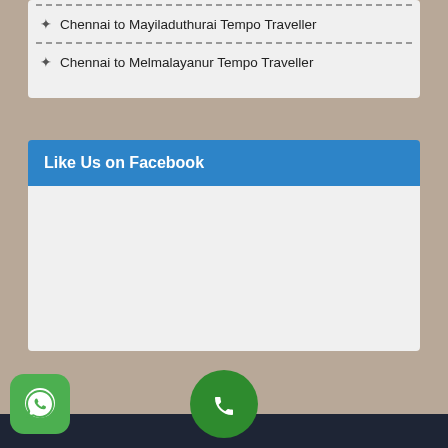Chennai to Mayiladuthurai Tempo Traveller
Chennai to Melmalayanur Tempo Traveller
Like Us on Facebook
[Figure (other): Blank Facebook widget embed area]
[Figure (other): WhatsApp contact button (green rounded square icon)]
[Figure (other): Phone call button (green circle with phone icon)]